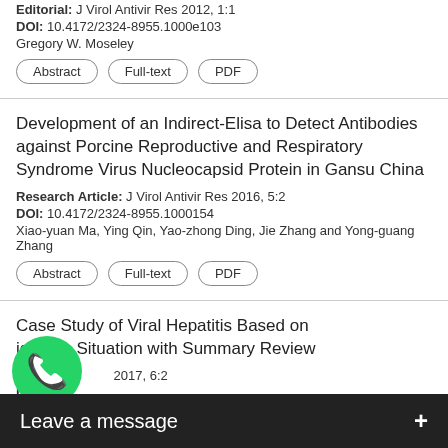Editorial: J Virol Antivir Res 2012, 1:1
DOI: 10.4172/2324-8955.1000e103
Gregory W. Moseley
Development of an Indirect-Elisa to Detect Antibodies against Porcine Reproductive and Respiratory Syndrome Virus Nucleocapsid Protein in Gansu China
Research Article: J Virol Antivir Res 2016, 5:2
DOI: 10.4172/2324-8955.1000154
Xiao-yuan Ma, Ying Qin, Yao-zhong Ding, Jie Zhang and Yong-guang Zhang
Case Study of Viral Hepatitis Based on igration Situation with Summary Review
...2017, 6:2
DOI:
Naw...